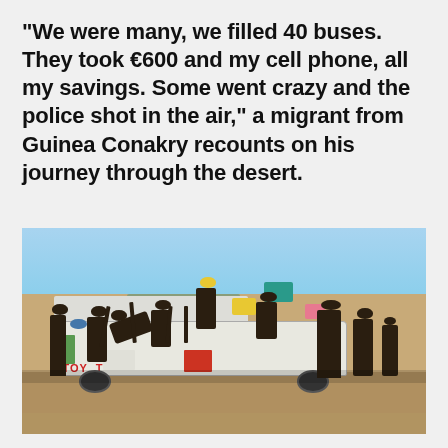"We were many, we filled 40 buses. They took €600 and my cell phone, all my savings. Some went crazy and the police shot in the air," a migrant from Guinea Conakry recounts on his journey through the desert.
[Figure (photo): A crowded pickup truck (Toyota) overloaded with migrants in a desert landscape. Multiple people are sitting and standing on the truck bed, with colorful clothing visible. The setting is arid with sandy ground and clear sky.]